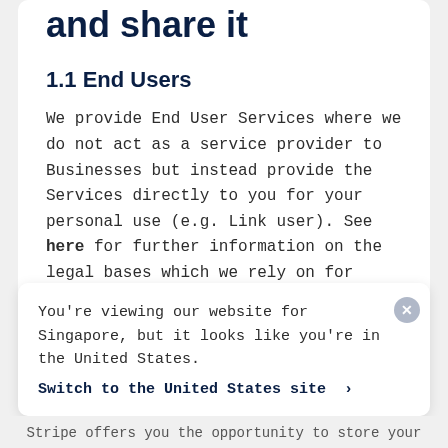collect and how we use and share it
1.1 End Users
We provide End User Services where we do not act as a service provider to Businesses but instead provide the Services directly to you for your personal use (e.g. Link user). See here for further information on the legal bases which we rely on for using (processing) your Personal Data.
You're viewing our website for Singapore, but it looks like you're in the United States. Switch to the United States site >
Stripe offers you the opportunity to store your